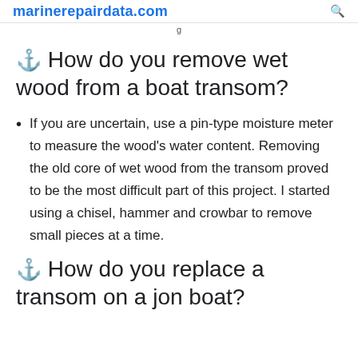marinerepairdata.com
g
⚓ How do you remove wet wood from a boat transom?
If you are uncertain, use a pin-type moisture meter to measure the wood's water content. Removing the old core of wet wood from the transom proved to be the most difficult part of this project. I started using a chisel, hammer and crowbar to remove small pieces at a time.
⚓ How do you replace a transom on a jon boat?